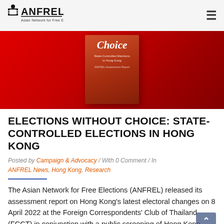ANFREL - Asian Network for Free Elections
[Figure (photo): Red background hero image with a book cover showing 'Choice – State-Controlled Elections in Hong Kong' ANFREL Assessment Report]
ELECTIONS WITHOUT CHOICE: STATE-CONTROLLED ELECTIONS IN HONG KONG
Posted by Campaign & Advocacy / With 0 Comment / In ANFREL News, Hong Kong, Research
The Asian Network for Free Elections (ANFREL) released its assessment report on Hong Kong's latest electoral changes on 8 April 2022 at the Foreign Correspondents' Club of Thailand (FCCT) in conjunction with a public screening of Hong Kong